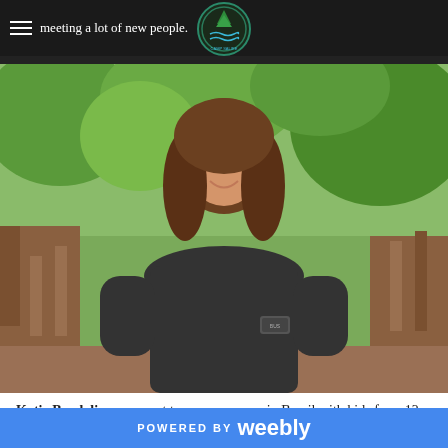meeting a lot of new people.
[Figure (photo): Young woman with long curly brown hair smiling on a wooden bridge/deck, wearing a dark t-shirt, with green trees in the background. Camp Salire logo visible in header.]
Katie Bendalin once went to summer camp in Brazil with kids from 12 countries, but is excited to be back in Rocky Mount for the 7th time this year... She is from Ball...
POWERED BY weebly